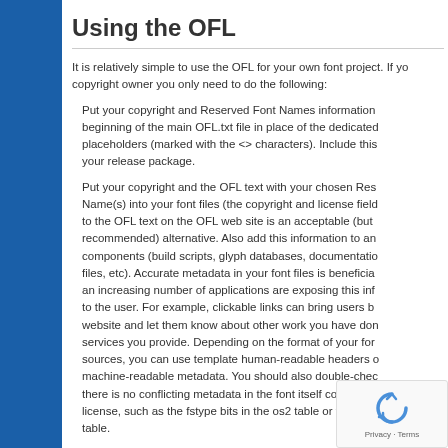Using the OFL
It is relatively simple to use the OFL for your own font project. If you are the copyright owner you only need to do the following:
Put your copyright and Reserved Font Names information at the beginning of the main OFL.txt file in place of the dedicated placeholders (marked with the <> characters). Include this in your release package.
Put your copyright and the OFL text with your chosen Reserved Font Name(s) into your font files (the copyright and license fields). A link to the OFL text on the OFL web site is an acceptable (but not recommended) alternative. Also add this information to any other components (build scripts, glyph databases, documentation files, etc). Accurate metadata in your font files is beneficial as an increasing number of applications are exposing this information to the user. For example, clickable links can bring users back to your website and let them know about other work you have done or services you provide. Depending on the format of your font sources, you can use template human-readable headers or machine-readable metadata. You should also double-check that there is no conflicting metadata in the font itself contradicting the license, such as the fstype bits in the os2 table or fields in the name table.
Write an initial FONTLOG.txt for your font and include it in your release package (see Section 6 and Appendix A for more details including a template).